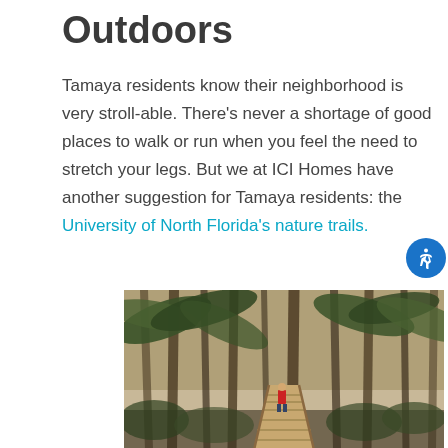Outdoors
Tamaya residents know their neighborhood is very stroll-able. There's never a shortage of good places to walk or run when you feel the need to stretch your legs. But we at ICI Homes have another suggestion for Tamaya residents: the University of North Florida's nature trails.
[Figure (photo): A wooden boardwalk path winding through a Florida palm and hardwood forest with a person in a red jacket visible in the distance]